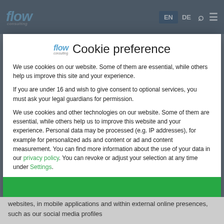[Figure (screenshot): Flow Consulting website navigation bar with logo, EN/DE language switcher, search and menu icons on dark background]
Cookie preference
We use cookies on our website. Some of them are essential, while others help us improve this site and your experience.
If you are under 16 and wish to give consent to optional services, you must ask your legal guardians for permission.
We use cookies and other technologies on our website. Some of them are essential, while others help us to improve this website and your experience. Personal data may be processed (e.g. IP addresses), for example for personalized ads and content or ad and content measurement. You can find more information about the use of your data in our privacy policy. You can revoke or adjust your selection at any time under Settings.
Required
Externe Medien
websites, in mobile applications and within external online presences, such as our social media profiles